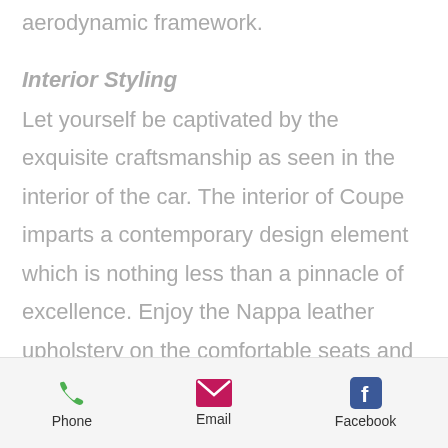aerodynamic framework.
Interior Styling
Let yourself be captivated by the exquisite craftsmanship as seen in the interior of the car. The interior of Coupe imparts a contemporary design element which is nothing less than a pinnacle of excellence. Enjoy the Nappa leather upholstery on the comfortable seats and three-dimensional fitting for a much more accommodating passenger
Phone  Email  Facebook